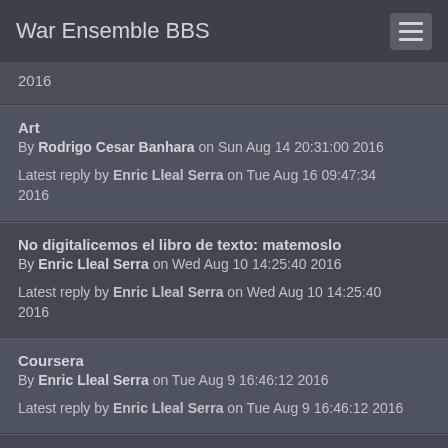War Ensemble BBS
2016
Art
By Rodrigo Cesar Banhara on Sun Aug 14 20:31:00 2016
Latest reply by Enric Lleal Serra on Tue Aug 16 09:47:34 2016
No digitalicemos el libro de texto: matemoslo
By Enric Lleal Serra on Wed Aug 10 14:25:40 2016
Latest reply by Enric Lleal Serra on Wed Aug 10 14:25:40 2016
Coursera
By Enric Lleal Serra on Tue Aug 9 16:46:12 2016
Latest reply by Enric Lleal Serra on Tue Aug 9 16:46:12 2016